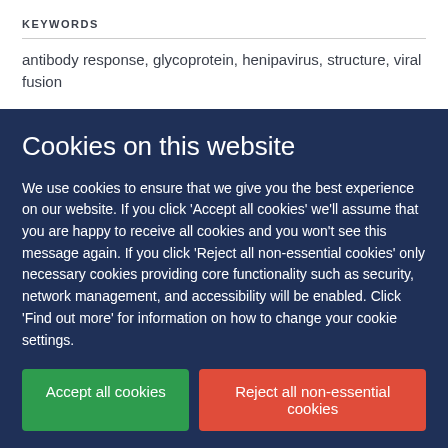KEYWORDS
antibody response, glycoprotein, henipavirus, structure, viral fusion
Cookies on this website
We use cookies to ensure that we give you the best experience on our website. If you click 'Accept all cookies' we'll assume that you are happy to receive all cookies and you won't see this message again. If you click 'Reject all non-essential cookies' only necessary cookies providing core functionality such as security, network management, and accessibility will be enabled. Click 'Find out more' for information on how to change your cookie settings.
Accept all cookies
Reject all non-essential cookies